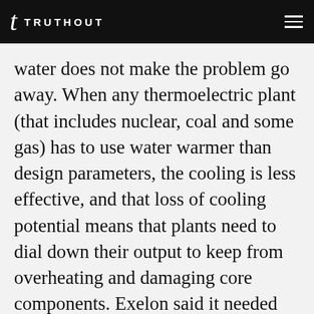TRUTHOUT
water does not make the problem go away. When any thermoelectric plant (that includes nuclear, coal and some gas) has to use water warmer than design parameters, the cooling is less effective, and that loss of cooling potential means that plants need to dial down their output to keep from overheating and damaging core components. Exelon said it needed special dispensation to keep Braidwood running because of the increased demand for electricity during heat waves such as the one seen this July,